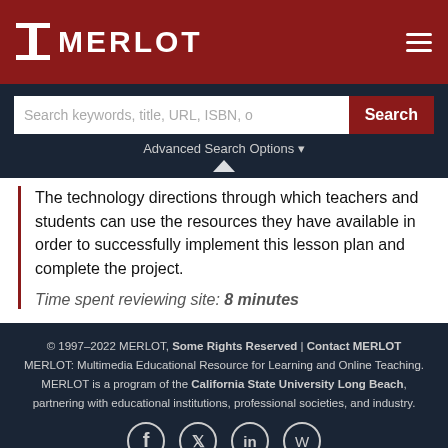MERLOT
The technology directions through which teachers and students can use the resources they have available in order to successfully implement this lesson plan and complete the project. Time spent reviewing site: 8 minutes
© 1997–2022 MERLOT, Some Rights Reserved | Contact MERLOT. MERLOT: Multimedia Educational Resource for Learning and Online Teaching. MERLOT is a program of the California State University Long Beach, partnering with educational institutions, professional societies, and industry.